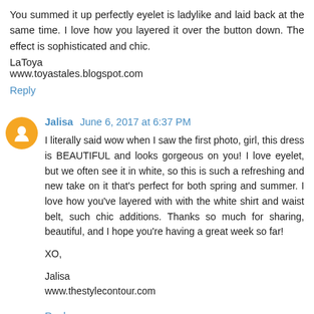You summed it up perfectly eyelet is ladylike and laid back at the same time. I love how you layered it over the button down. The effect is sophisticated and chic.
LaToya
www.toyastales.blogspot.com
Reply
Jalisa  June 6, 2017 at 6:37 PM
I literally said wow when I saw the first photo, girl, this dress is BEAUTIFUL and looks gorgeous on you! I love eyelet, but we often see it in white, so this is such a refreshing and new take on it that's perfect for both spring and summer. I love how you've layered with with the white shirt and waist belt, such chic additions. Thanks so much for sharing, beautiful, and I hope you're having a great week so far!

XO,

Jalisa
www.thestylecontour.com
Reply